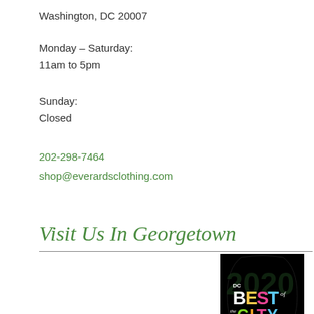Washington, DC 20007
Monday – Saturday:
11am to 5pm
Sunday:
Closed
202-298-7464
shop@everardsclothing.com
Visit Us In Georgetown
[Figure (logo): DC Best of the City Winner badge/logo on black background with colorful text]